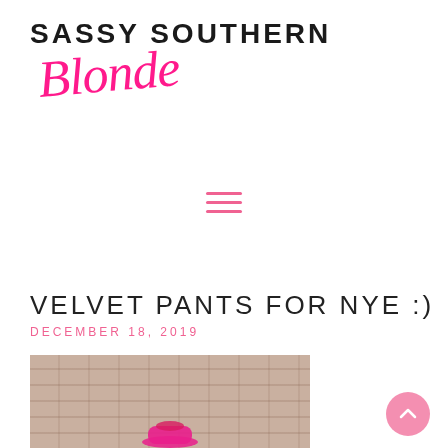[Figure (logo): Sassy Southern Blonde blog logo with black uppercase text 'SASSY SOUTHERN' and pink cursive 'Blonde']
[Figure (other): Pink hamburger menu icon (three horizontal lines)]
VELVET PANTS FOR NYE :)
DECEMBER 18, 2019
[Figure (photo): Photo of a person wearing a pink hat in front of a brick wall]